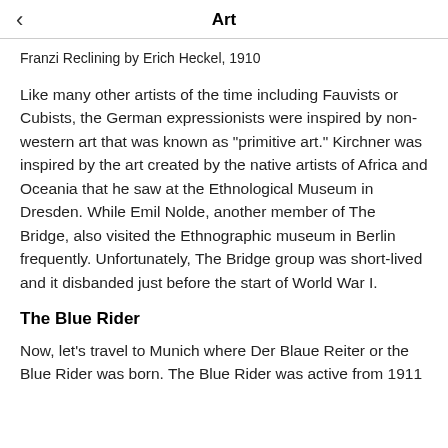Art
Franzi Reclining by Erich Heckel, 1910
Like many other artists of the time including Fauvists or Cubists, the German expressionists were inspired by non-western art that was known as "primitive art." Kirchner was inspired by the art created by the native artists of Africa and Oceania that he saw at the Ethnological Museum in Dresden. While Emil Nolde, another member of The Bridge, also visited the Ethnographic museum in Berlin frequently. Unfortunately, The Bridge group was short-lived and it disbanded just before the start of World War I.
The Blue Rider
Now, let's travel to Munich where Der Blaue Reiter or the Blue Rider was born. The Blue Rider was active from 1911